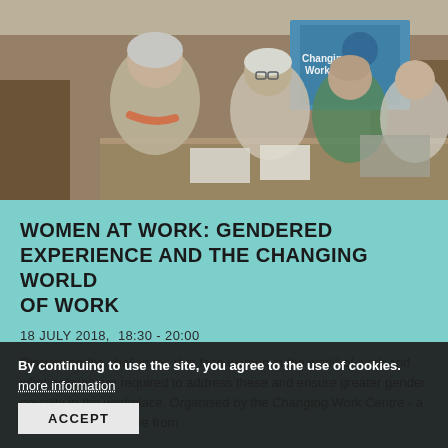[Figure (photo): A photograph of four women seated at a table in what appears to be a formal meeting room or parliament setting. A banner reading 'Changing Work' is visible in the background. The women appear to be engaged in discussion.]
WOMEN AT WORK: GENDERED EXPERIENCE AND THE CHANGING WORLD OF WORK
18 JULY 2018, 18:30 - 20:00
Discussing the challenges that face women in the world of work and what policies are required to address these and ensure greater gender equality in the workplace. Organised by the Changing Work Centre - a joint research initiative from the University and the Royal Society
By continuing to use the site, you agree to the use of cookies. more information
ACCEPT